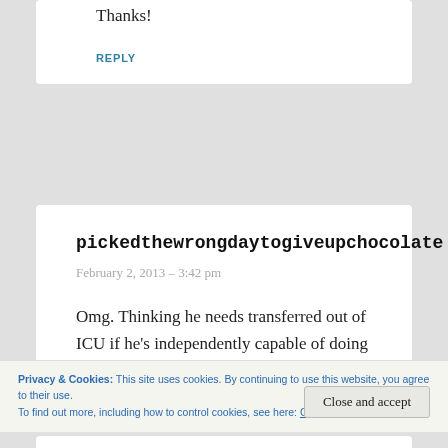Thanks!
REPLY
pickedthewrongdaytogiveupchocolate
February 2, 2013 – 3:42 pm
Omg. Thinking he needs transferred out of ICU if he's independently capable of doing that.
Privacy & Cookies: This site uses cookies. By continuing to use this website, you agree to their use.
To find out more, including how to control cookies, see here: Cookie Policy
Close and accept